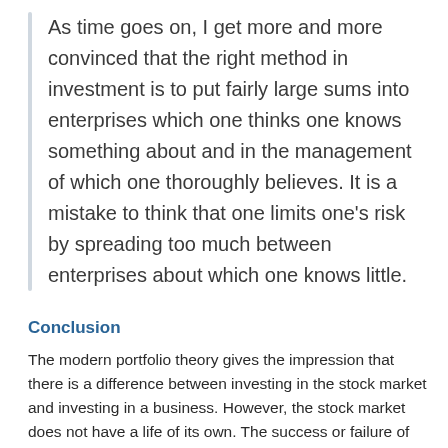As time goes on, I get more and more convinced that the right method in investment is to put fairly large sums into enterprises which one thinks one knows something about and in the management of which one thoroughly believes. It is a mistake to think that one limits one's risk by spreading too much between enterprises about which one knows little.
Conclusion
The modern portfolio theory gives the impression that there is a difference between investing in the stock market and investing in a business. However, the stock market does not have a life of its own. The success or failure of investment in stocks depends...